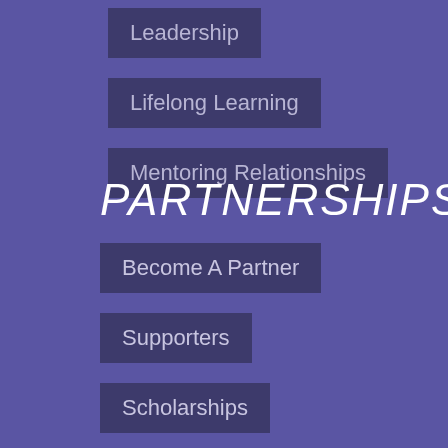Leadership
Lifelong Learning
Mentoring Relationships
PARTNERSHIPS
Become A Partner
Supporters
Scholarships